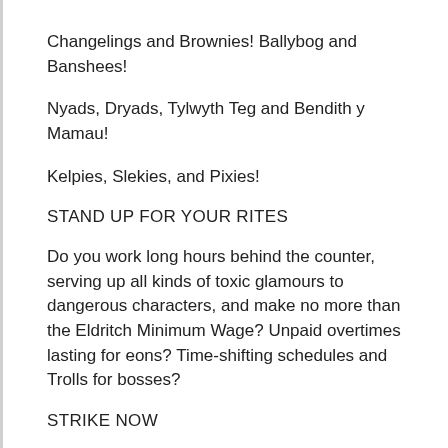Changelings and Brownies! Ballybog and Banshees!
Nyads, Dryads, Tylwyth Teg and Bendith y Mamau!
Kelpies, Slekies, and Pixies!
STAND UP FOR YOUR RITES
Do you work long hours behind the counter, serving up all kinds of toxic glamours to dangerous characters, and make no more than the Eldritch Minimum Wage? Unpaid overtimes lasting for eons? Time-shifting schedules and Trolls for bosses?
STRIKE NOW